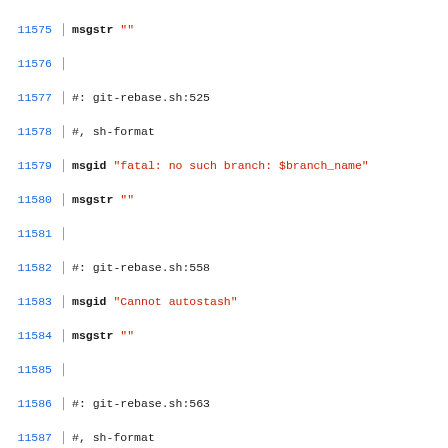Code listing lines 11575-11604, git localization file (.po format)